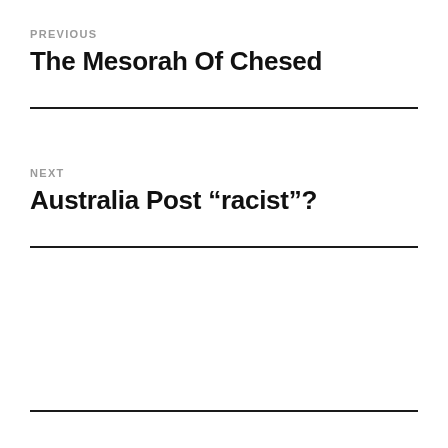PREVIOUS
The Mesorah Of Chesed
NEXT
Australia Post “racist”?